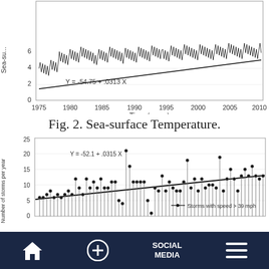[Figure (continuous-plot): Top partial chart: Sea-surface temperature time series from 1975 to 2010 with spiky oscillations between 0 and 6, with trend line equation Y = -54.75 + .0313 X. Y-axis label 'Sea-su...' (Sea-surface temperature). X-axis label 'Time (years)'.]
Fig. 2. Sea-surface Temperature.
[Figure (continuous-plot): Scatter/lollipop chart: Number of storms per year from approximately 1940 to 2000+. Y-axis labeled 'Number of storms per year', range 0-25. Data shown as lollipop markers connected by vertical lines. Trend line with equation Y = -52.1 + .0315 X. Legend: '— Storms with speed > 39 mph'. Values range from about 5-21 storms per year with an upward trend.]
SOCIAL MEDIA